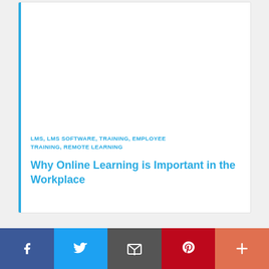LMS, LMS SOFTWARE, TRAINING, EMPLOYEE TRAINING, REMOTE LEARNING
Why Online Learning is Important in the Workplace
[Figure (other): Social sharing bar with Facebook, Twitter, Email, Pinterest, and More buttons]